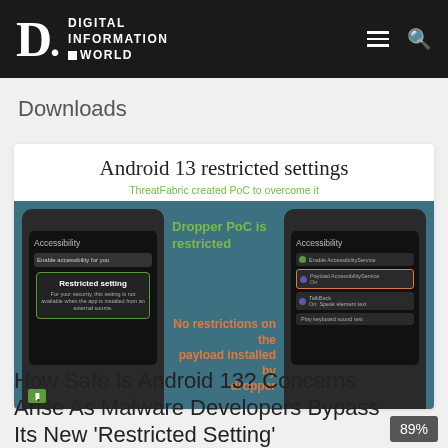DIGITAL INFORMATION WORLD
Downloads
[Figure (screenshot): Screenshot showing Android 13 restricted settings infographic with two phone screens. Left phone shows 'Restricted setting' dialog, right phone shows Accessibility settings with items enabled. Text overlay reads 'Dropper PoC is restricted' in green and 'No restrictions on the payload installed by dropper' in orange. Subtitle: 'ThreatFabric created PoC to overcome it'. Title: 'Android 13 restricted settings'.]
How Safe Is Android 13? Concerns Arise As Malware Developers Bypass Its New 'Restricted Setting'